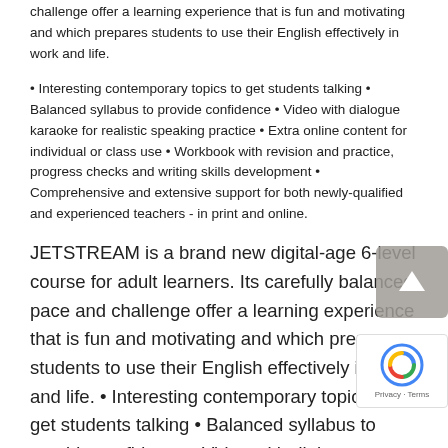challenge offer a learning experience that is fun and motivating and which prepares students to use their English effectively in work and life.
• Interesting contemporary topics to get students talking • Balanced syllabus to provide confidence • Video with dialogue karaoke for realistic speaking practice • Extra online content for individual or class use • Workbook with revision and practice, progress checks and writing skills development • Comprehensive and extensive support for both newly-qualified and experienced teachers - in print and online.
JETSTREAM is a brand new digital-age 6-level course for adult learners. Its carefully balanced pace and challenge offer a learning experience that is fun and motivating and which prepares students to use their English effectively in work and life. • Interesting contemporary topics to get students talking • Balanced syllabus to provide confidence • Video with dialogue karaoke for realistic speaking practice • Extra online conte for individual or class use • Workbook with revision and practice, progress checks and writing skills development
[Figure (other): Scroll-to-top button overlay (upward arrow on grey background)]
[Figure (other): Google reCAPTCHA badge overlay with logo and Privacy - Terms text]